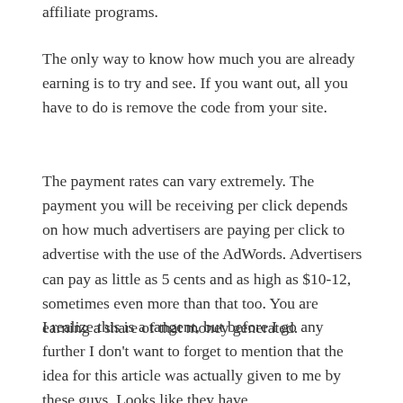affiliate programs.
The only way to know how much you are already earning is to try and see. If you want out, all you have to do is remove the code from your site.
The payment rates can vary extremely. The payment you will be receiving per click depends on how much advertisers are paying per click to advertise with the use of the AdWords. Advertisers can pay as little as 5 cents and as high as $10-12, sometimes even more than that too. You are earning a share of that money generated.
I realize this is a tangent, but before I go any further I don't want to forget to mention that the idea for this article was actually given to me by these guys. Looks like they have www.aloftgroup.ca. All right, I'll get back